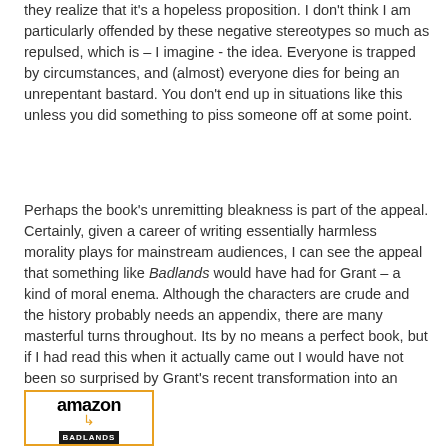they realize that it's a hopeless proposition. I don't think I am particularly offended by these negative stereotypes so much as repulsed, which is – I imagine - the idea. Everyone is trapped by circumstances, and (almost) everyone dies for being an unrepentant bastard. You don't end up in situations like this unless you did something to piss someone off at some point.
Perhaps the book's unremitting bleakness is part of the appeal. Certainly, given a career of writing essentially harmless morality plays for mainstream audiences, I can see the appeal that something like Badlands would have had for Grant – a kind of moral enema. Although the characters are crude and the history probably needs an appendix, there are many masterful turns throughout. Its by no means a perfect book, but if I had read this when it actually came out I would have not been so surprised by Grant's recent transformation into an eminance grise.
[Figure (logo): Amazon logo with orange arrow and BADLANDS book label below]